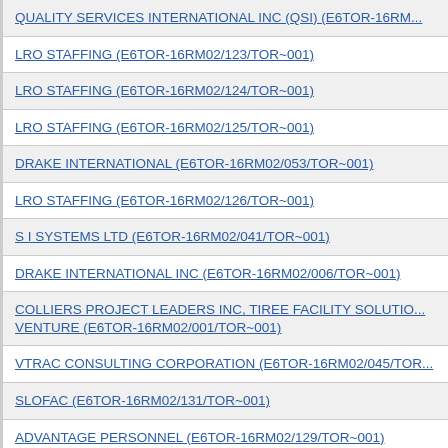QUALITY SERVICES INTERNATIONAL INC (QSI) (E6TOR-16RM02/...
LRO STAFFING (E6TOR-16RM02/123/TOR~001)
LRO STAFFING (E6TOR-16RM02/124/TOR~001)
LRO STAFFING (E6TOR-16RM02/125/TOR~001)
DRAKE INTERNATIONAL (E6TOR-16RM02/053/TOR~001)
LRO STAFFING (E6TOR-16RM02/126/TOR~001)
S I SYSTEMS LTD (E6TOR-16RM02/041/TOR~001)
DRAKE INTERNATIONAL INC (E6TOR-16RM02/006/TOR~001)
COLLIERS PROJECT LEADERS INC, TIREE FACILITY SOLUTIONS VENTURE (E6TOR-16RM02/001/TOR~001)
VTRAC CONSULTING CORPORATION (E6TOR-16RM02/045/TOR~001)
SLOFAC (E6TOR-16RM02/131/TOR~001)
ADVANTAGE PERSONNEL (E6TOR-16RM02/129/TOR~001)
ADECCO (E6TOR-16RM02/052/TOR~001)
MANPOWER (E6TOR-16RM02/008/TOR~001)
DEAN GROUP (E6TOR-16RM02/132/TOR~001)